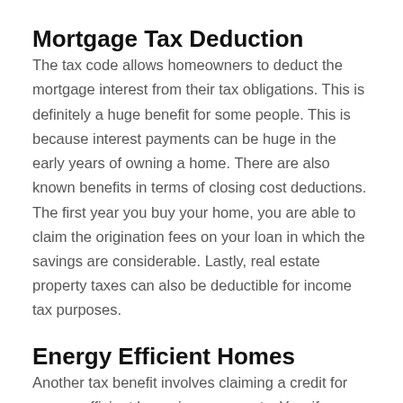Mortgage Tax Deduction
The tax code allows homeowners to deduct the mortgage interest from their tax obligations. This is definitely a huge benefit for some people. This is because interest payments can be huge in the early years of owning a home. There are also known benefits in terms of closing cost deductions. The first year you buy your home, you are able to claim the origination fees on your loan in which the savings are considerable. Lastly, real estate property taxes can also be deductible for income tax purposes.
Energy Efficient Homes
Another tax benefit involves claiming a credit for energy efficient home improvements. Yes, if you upgrade your hot water heater, re-insulate your home, add new